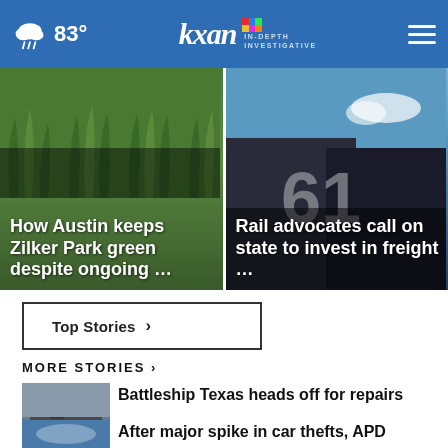83° kxan IN-DEPTH INVESTIGATIVE
[Figure (photo): Grass close-up photo with overlay text: How Austin keeps Zilker Park green despite ongoing ...]
[Figure (photo): Aircraft or vehicle close-up with sky background and overlay text: Rail advocates call on state to invest in freight ...]
Top Stories ›
MORE STORIES ›
[Figure (photo): Thumbnail photo of Battleship Texas]
Battleship Texas heads off for repairs
[Figure (photo): Thumbnail photo related to car thefts story]
After major spike in car thefts, APD